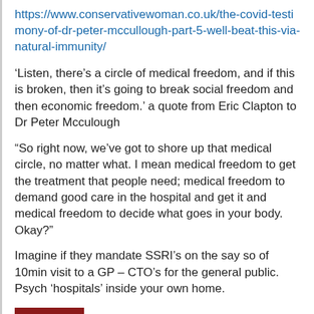https://www.conservativewoman.co.uk/the-covid-testimony-of-dr-peter-mccullough-part-5-well-beat-this-via-natural-immunity/
‘Listen, there’s a circle of medical freedom, and if this is broken, then it’s going to break social freedom and then economic freedom.’ a quote from Eric Clapton to Dr Peter Mcculough
“So right now, we’ve got to shore up that medical circle, no matter what. I mean medical freedom to get the treatment that people need; medical freedom to demand good care in the hospital and get it and medical freedom to decide what goes in your body. Okay?”
Imagine if they mandate SSRI’s on the say so of 10min visit to a GP – CTO’s for the general public. Psych ‘hospitals’ inside your own home.
Reply